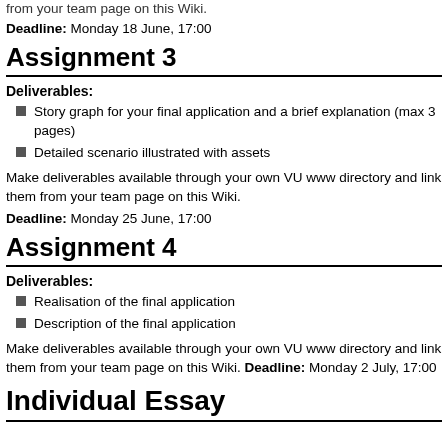from your team page on this Wiki.
Deadline: Monday 18 June, 17:00
Assignment 3
Deliverables:
Story graph for your final application and a brief explanation (max 3 pages)
Detailed scenario illustrated with assets
Make deliverables available through your own VU www directory and link them from your team page on this Wiki.
Deadline: Monday 25 June, 17:00
Assignment 4
Deliverables:
Realisation of the final application
Description of the final application
Make deliverables available through your own VU www directory and link them from your team page on this Wiki. Deadline: Monday 2 July, 17:00
Individual Essay